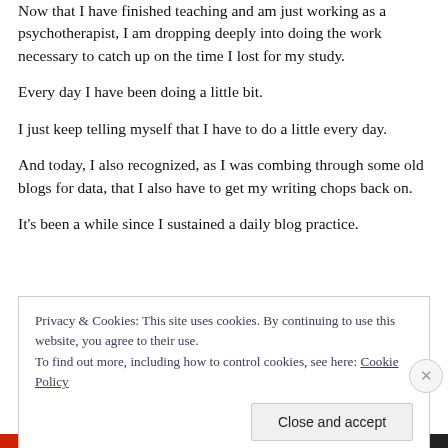Now that I have finished teaching and am just working as a psychotherapist, I am dropping deeply into doing the work necessary to catch up on the time I lost for my study.
Every day I have been doing a little bit.
I just keep telling myself that I have to do a little every day.
And today, I also recognized, as I was combing through some old blogs for data, that I also have to get my writing chops back on.
It's been a while since I sustained a daily blog practice.
Privacy & Cookies: This site uses cookies. By continuing to use this website, you agree to their use.
To find out more, including how to control cookies, see here: Cookie Policy
Close and accept